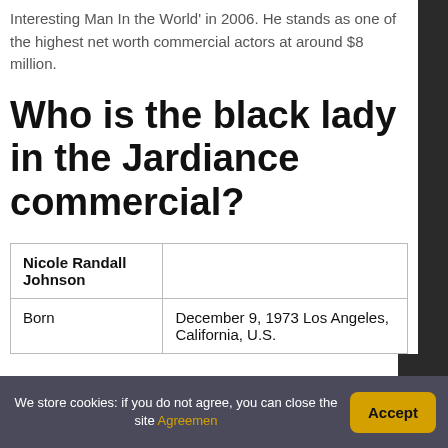Interesting Man In the World' in 2006. He stands as one of the highest net worth commercial actors at around $8 million.
Who is the black lady in the Jardiance commercial?
| Nicole Randall Johnson |  |
| Born | December 9, 1973 Los Angeles, California, U.S. |
We store cookies: if you do not agree, you can close the site Agreemen